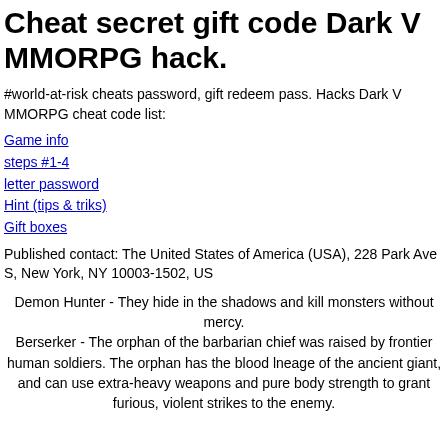Cheat secret gift code Dark V MMORPG hack.
#world-at-risk cheats password, gift redeem pass. Hacks Dark V MMORPG cheat code list:
Game info
steps #1-4
letter password
Hint (tips & triks)
Gift boxes
Published contact: The United States of America (USA), 228 Park Ave S, New York, NY 10003-1502, US
Demon Hunter - They hide in the shadows and kill monsters without mercy.
Berserker - The orphan of the barbarian chief was raised by frontier human soldiers. The orphan has the blood lneage of the ancient giant, and can use extra-heavy weapons and pure body strength to grant furious, violent strikes to the enemy.